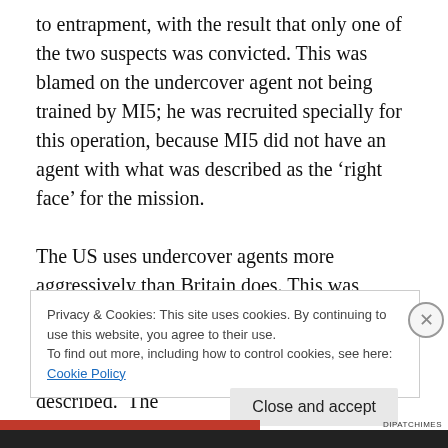to entrapment, with the result that only one of the two suspects was convicted. This was blamed on the undercover agent not being trained by MI5; he was recruited specially for this operation, because MI5 did not have an agent with what was described as the ‘right face’ for the mission.

The US uses undercover agents more aggressively than Britain does. This was claimed to risk claims of entrapment. An operation, again carried out by outsiders brought in specially for this mission was described. The
Privacy & Cookies: This site uses cookies. By continuing to use this website, you agree to their use.
To find out more, including how to control cookies, see here: Cookie Policy